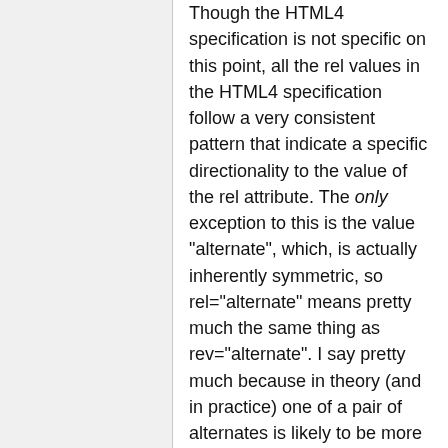Though the HTML4 specification is not specific on this point, all the rel values in the HTML4 specification follow a very consistent pattern that indicate a specific directionality to the value of the rel attribute. The only exception to this is the value "alternate", which, is actually inherently symmetric, so rel="alternate" means pretty much the same thing as rev="alternate". I say pretty much because in theory (and in practice) one of a pair of alternates is likely to be more definitive, and thus one is more a primary resource, with the other being an alternative. In theory you could extend rel with a new value, e.g. "original" which could be used to point back the original version of a document. This could be used for example with translations, where translations of a document would point back to the original with